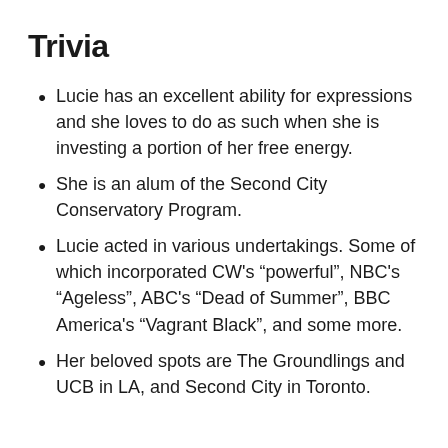Trivia
Lucie has an excellent ability for expressions and she loves to do as such when she is investing a portion of her free energy.
She is an alum of the Second City Conservatory Program.
Lucie acted in various undertakings. Some of which incorporated CW's “powerful”, NBC's “Ageless”, ABC's “Dead of Summer”, BBC America's “Vagrant Black”, and some more.
Her beloved spots are The Groundlings and UCB in LA, and Second City in Toronto.